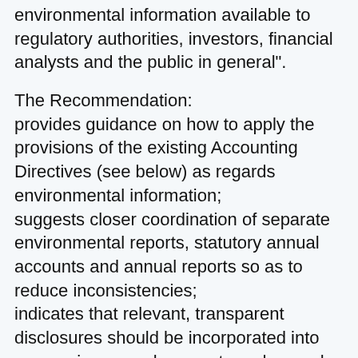environmental information available to regulatory authorities, investors, financial analysts and the public in general".
The Recommendation:
provides guidance on how to apply the provisions of the existing Accounting Directives (see below) as regards environmental information;
suggests closer coordination of separate environmental reports, statutory annual accounts and annual reports so as to reduce inconsistencies;
indicates that relevant, transparent disclosures should be incorporated into companies annual accounts and annual reports in a way that complements the more detailed separate environmental reports.
Investors and users of financial statements need information about the impact of environmental risks and liabilities on the financial position of the company, as well as the company's attitude...